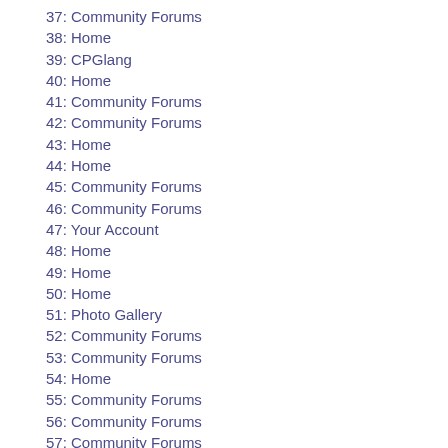37: Community Forums
38: Home
39: CPGlang
40: Home
41: Community Forums
42: Community Forums
43: Home
44: Home
45: Community Forums
46: Community Forums
47: Your Account
48: Home
49: Home
50: Home
51: Photo Gallery
52: Community Forums
53: Community Forums
54: Home
55: Community Forums
56: Community Forums
57: Community Forums
58: Home
59: Photo Gallery
60: Community Forums
61: Home